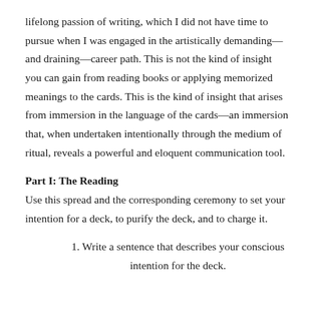lifelong passion of writing, which I did not have time to pursue when I was engaged in the artistically demanding—and draining—career path. This is not the kind of insight you can gain from reading books or applying memorized meanings to the cards. This is the kind of insight that arises from immersion in the language of the cards—an immersion that, when undertaken intentionally through the medium of ritual, reveals a powerful and eloquent communication tool.
Part I: The Reading
Use this spread and the corresponding ceremony to set your intention for a deck, to purify the deck, and to charge it.
1. Write a sentence that describes your conscious intention for the deck.